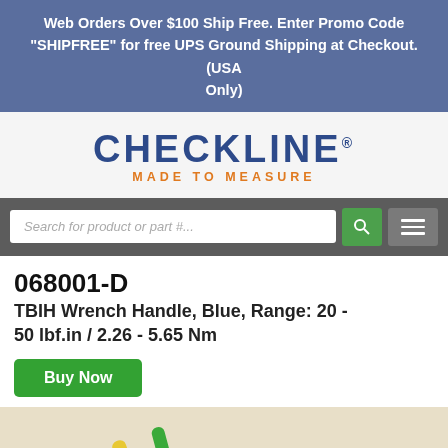Web Orders Over $100 Ship Free. Enter Promo Code "SHIPFREE" for free UPS Ground Shipping at Checkout. (USA Only)
[Figure (logo): Checkline logo with tagline 'MADE TO MEASURE']
[Figure (screenshot): Search bar with placeholder 'Search for product or part #...' and green search button and grey menu button]
068001-D
TBIH Wrench Handle, Blue, Range: 20 - 50 lbf.in / 2.26 - 5.65 Nm
Buy Now
[Figure (photo): Partial photo of TBIH wrench handles (yellow and green) on a textured beige background]